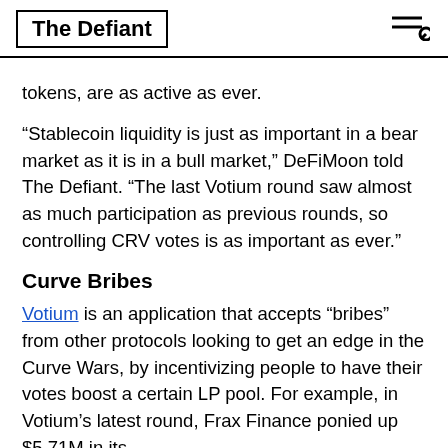The Defiant
tokens, are as active as ever.
“Stablecoin liquidity is just as important in a bear market as it is in a bull market,” DeFiMoon told The Defiant. “The last Votium round saw almost as much participation as previous rounds, so controlling CRV votes is as important as ever.”
Curve Bribes
Votium is an application that accepts “bribes” from other protocols looking to get an edge in the Curve Wars, by incentivizing people to have their votes boost a certain LP pool. For example, in Votium’s latest round, Frax Finance ponied up $5.71M in its